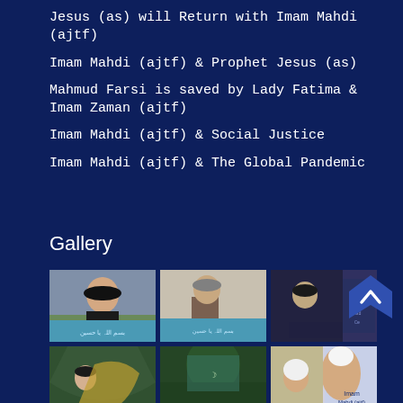Jesus (as) will Return with Imam Mahdi (ajtf)
Imam Mahdi (ajtf) & Prophet Jesus (as)
Mahmud Farsi is saved by Lady Fatima & Imam Zaman (ajtf)
Imam Mahdi (ajtf) & Social Justice
Imam Mahdi (ajtf) & The Global Pandemic
Gallery
[Figure (photo): Woman in black hijab speaking at a podium with Arabic banner below]
[Figure (photo): Woman in grey hijab speaking at a wooden podium with Arabic banner]
[Figure (photo): Man reading at a podium with dark curtain background and Imam Mahdi Academy banner]
[Figure (photo): Woman in green setting with gold decorative arch]
[Figure (photo): Islamic setting with green decorative elements]
[Figure (photo): Imam Mahdi (ajtf) logo/branding with man in white turban]